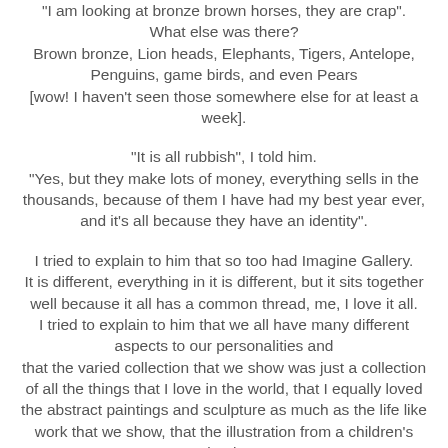"I am looking at bronze brown horses, they are crap". What else was there? Brown bronze, Lion heads, Elephants, Tigers, Antelope, Penguins, game birds, and even Pears [wow! I haven't seen those somewhere else for at least a week].
"It is all rubbish", I told him. "Yes, but they make lots of money, everything sells in the thousands, because of them I have had my best year ever, and it's all because they have an identity".
I tried to explain to him that so too had Imagine Gallery. It is different, everything in it is different, but it sits together well because it all has a common thread, me, I love it all. I tried to explain to him that we all have many different aspects to our personalities and that the varied collection that we show was just a collection of all the things that I love in the world, that I equally loved the abstract paintings and sculpture as much as the life like work that we show, that the illustration from a children's book that hangs on the wall was equal in beauty to a famous